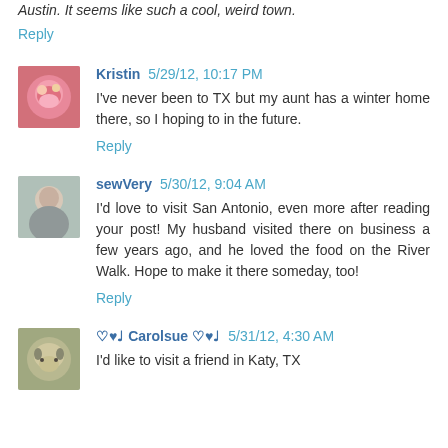Austin. It seems like such a cool, weird town.
Reply
Kristin 5/29/12, 10:17 PM
I've never been to TX but my aunt has a winter home there, so I hoping to in the future.
Reply
sewVery 5/30/12, 9:04 AM
I'd love to visit San Antonio, even more after reading your post! My husband visited there on business a few years ago, and he loved the food on the River Walk. Hope to make it there someday, too!
Reply
♡♥♩ Carolsue ♡♥♩ 5/31/12, 4:30 AM
I'd like to visit a friend in Katy, TX